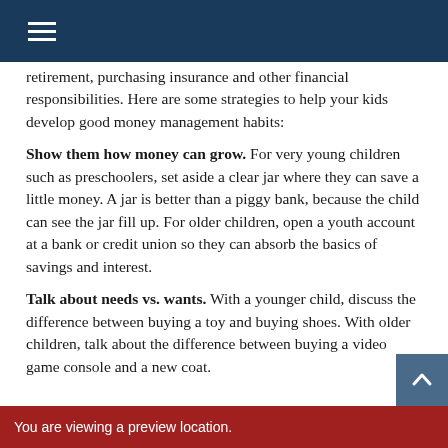[Navigation menu header bar]
retirement, purchasing insurance and other financial responsibilities. Here are some strategies to help your kids develop good money management habits:
Show them how money can grow. For very young children such as preschoolers, set aside a clear jar where they can save a little money. A jar is better than a piggy bank, because the child can see the jar fill up. For older children, open a youth account at a bank or credit union so they can absorb the basics of savings and interest.
Talk about needs vs. wants. With a younger child, discuss the difference between buying a toy and buying shoes. With older children, talk about the difference between buying a video game console and a new coat.
You are viewing a preview location.